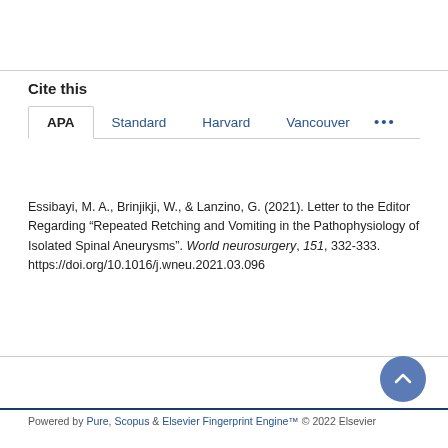Cite this
APA  Standard  Harvard  Vancouver  ...
Essibayi, M. A., Brinjikji, W., & Lanzino, G. (2021). Letter to the Editor Regarding “Repeated Retching and Vomiting in the Pathophysiology of Isolated Spinal Aneurysms”. World neurosurgery, 151, 332-333. https://doi.org/10.1016/j.wneu.2021.03.096
Powered by Pure, Scopus & Elsevier Fingerprint Engine™ © 2022 Elsevier